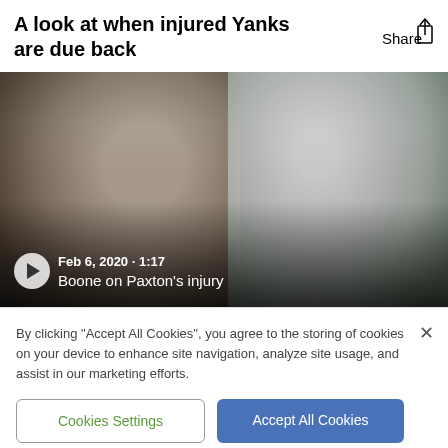A look at when injured Yanks are due back
[Figure (screenshot): Video thumbnail showing two New York Yankees figures, dated Feb 6, 2020, 1:17, with caption 'Boone on Paxton's injury' and a play button overlay]
By clicking "Accept All Cookies", you agree to the storing of cookies on your device to enhance site navigation, analyze site usage, and assist in our marketing efforts.